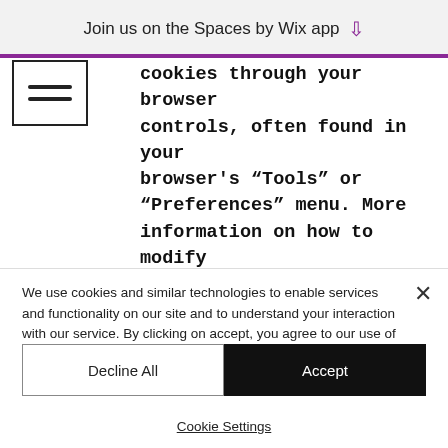Join us on the Spaces by Wix app ↓
[Figure (other): Hamburger/menu icon — three horizontal lines inside a rectangle border]
cookies through your browser controls, often found in your browser's "Tools" or "Preferences" menu. More information on how to modify your browser settings or how to block, manage or filter cookies can be found in your browser's help file or through such sites
We use cookies and similar technologies to enable services and functionality on our site and to understand your interaction with our service. By clicking on accept, you agree to our use of such technologies for marketing and analytics. See Privacy Policy
Decline All
Accept
Cookie Settings